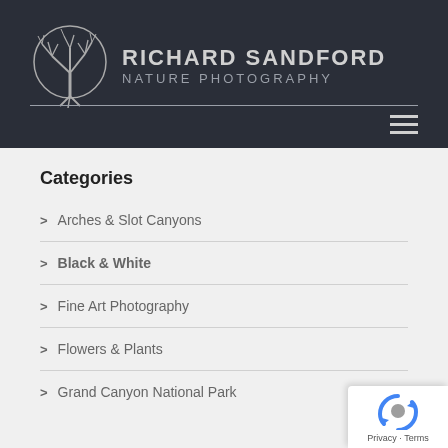[Figure (logo): Richard Sandford Nature Photography logo with a bare tree inside a circle, text reads RICHARD SANDFORD and NATURE PHOTOGRAPHY]
Categories
Arches & Slot Canyons
Black & White
Fine Art Photography
Flowers & Plants
Grand Canyon National Park